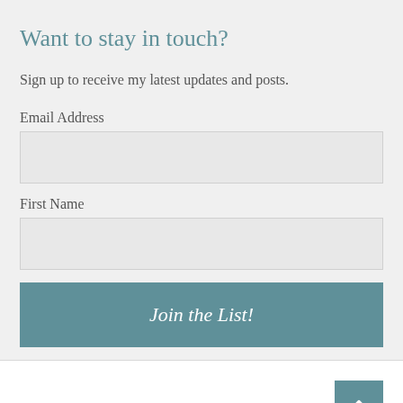Want to stay in touch?
Sign up to receive my latest updates and posts.
Email Address
First Name
Join the List!
Recent Posts
Day 922 – The End